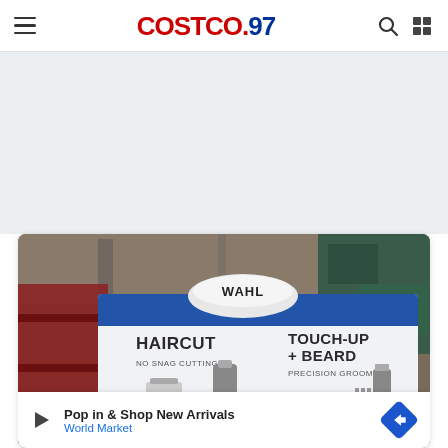COSTCO.97 navigation bar
[Figure (other): Grey advertisement/banner placeholder area below nav bar]
[Figure (photo): Wahl hair clipper product display at Costco warehouse store. Shows a Wahl branded display stand with two sections: left side labeled HAIRCUT NO SNAG CUTTING, right side labeled TOUCH-UP + BEARD PRECISION GROOMING. Hair clippers and trimmers visible on display. Warehouse store shelving visible in background.]
Pop in & Shop New Arrivals
World Market